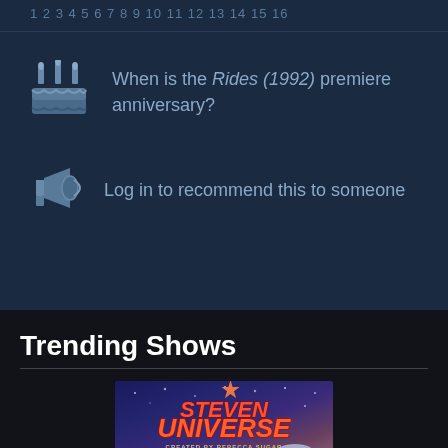1 2 3 4 5 6 7 8 9 10 11 12 13 14 15 16
When is the Rides (1992) premiere anniversary?
Log in to recommend this to someone
Trending Shows
[Figure (photo): Steven Universe animated show promotional image with colorful logo and cartoon characters]
Steven Universe